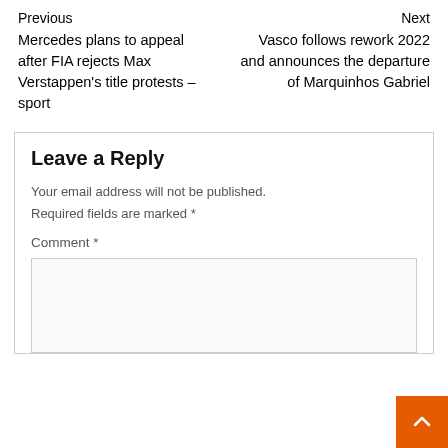Previous
Mercedes plans to appeal after FIA rejects Max Verstappen's title protests – sport
Next
Vasco follows rework 2022 and announces the departure of Marquinhos Gabriel
Leave a Reply
Your email address will not be published.
Required fields are marked *
Comment *